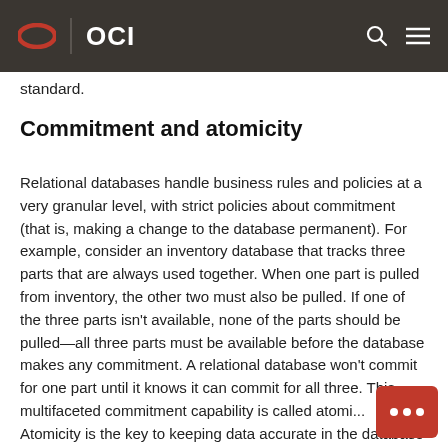OCI
standard.
Commitment and atomicity
Relational databases handle business rules and policies at a very granular level, with strict policies about commitment (that is, making a change to the database permanent). For example, consider an inventory database that tracks three parts that are always used together. When one part is pulled from inventory, the other two must also be pulled. If one of the three parts isn't available, none of the parts should be pulled—all three parts must be available before the database makes any commitment. A relational database won't commit for one part until it knows it can commit for all three. This multifaceted commitment capability is called atomi... Atomicity is the key to keeping data accurate in the... database and ensuring that it is compliant with the